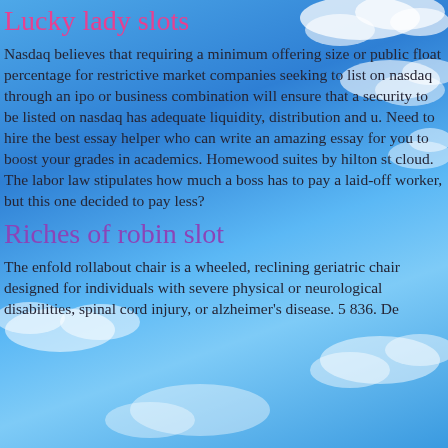Lucky lady slots
Nasdaq believes that requiring a minimum offering size or public float percentage for restrictive market companies seeking to list on nasdaq through an ipo or business combination will ensure that a security to be listed on nasdaq has adequate liquidity, distribution and u. Need to hire the best essay helper who can write an amazing essay for you to boost your grades in academics. Homewood suites by hilton st cloud. The labor law stipulates how much a boss has to pay a laid-off worker, but this one decided to pay less?
Riches of robin slot
The enfold rollabout chair is a wheeled, reclining geriatric chair designed for individuals with severe physical or neurological disabilities, spinal cord injury, or alzheimer's disease. 5 836. De